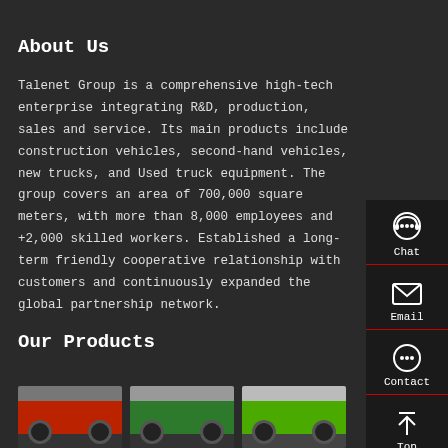About Us
Talenet Group is a comprehensive high-tech enterprise integrating R&D, production, sales and service. Its main products include construction vehicles, second-hand vehicles, new trucks, and Used truck equipment. The group covers an area of 700,000 square meters, with more than 8,000 employees and +2,000 skilled workers. Established a long-term friendly cooperative relationship with customers and continuously expanded the global partnership network.
Our Products
[Figure (infographic): Side navigation panel with Chat, Email, Contact, and Top (scroll to top) buttons with icons on dark background]
[Figure (photo): Three truck product photos shown at the bottom of the page - a red truck, a green truck, and another green/lime truck]
[Figure (other): Top scroll arrow button at bottom of side panel]